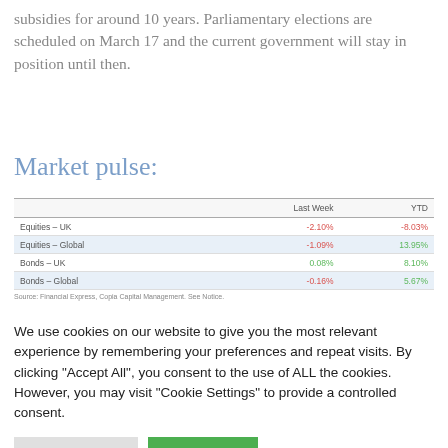subsidies for around 10 years. Parliamentary elections are scheduled on March 17 and the current government will stay in position until then.
Market pulse:
|  | Last Week | YTD |
| --- | --- | --- |
| Equities – UK | -2.10% | -8.03% |
| Equities – Global | -1.09% | 13.95% |
| Bonds – UK | 0.08% | 8.10% |
| Bonds – Global | -0.16% | 5.67% |
Source: Financial Express, Copia Capital Management. See Notice.
We use cookies on our website to give you the most relevant experience by remembering your preferences and repeat visits. By clicking "Accept All", you consent to the use of ALL the cookies. However, you may visit "Cookie Settings" to provide a controlled consent.